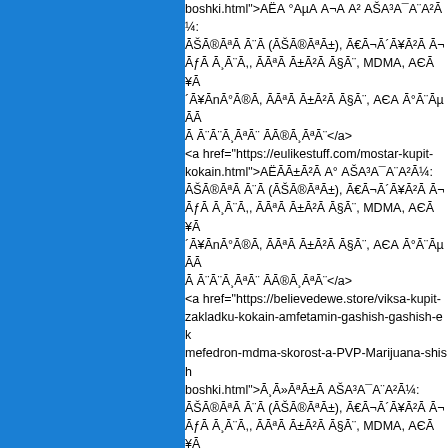boshki.html">АЁРЛРА¬А А² АŠА³А¯А¨А²Ā Āš Ā®ĀªĀ Ā¨Ā (Āš Ā®ĀªĀ±), Ā€Ā¬Ā´Ā¥Ā²Ā Ā¬ĀƒĀ Ā¸Ā¨Ā,, ĀĀªĀ±Ā²Ā Ā§Ā¨, MDMA, АЄĀ¥Ā ´Ā¥ĀøĀ°Ā®Ā, ĀĀªĀ±Ā²Ā Ā§Ā¨, АЄА Ā°Ā¨ĀµĀ Ā Ā¨Ā¨Ā¸ĀªĀ¨ ĀĀ®Ā¸ĀªĀ¨</a>
<a href="https://eulikestuff.com/mostar-kupit-kokain.html">АЁĀĀ±Ā²Ā А° АŠА³А¯А¨А²Ā¼: Āš Ā®ĀªĀ Ā¨Ā (Āš Ā®ĀªĀ±), Ā€Ā¬Ā´Ā¥Ā²Ā Ā¬ĀƒĀ Ā¸Ā¨Ā,, ĀĀªĀ±Ā²Ā Ā§Ā¨, MDMA, АЄĀ¥Ā ´Ā¥ĀøĀ°Ā®Ā, ĀĀªĀ±Ā²Ā Ā§Ā¨, АЄА Ā°Ā¨ĀµĀ Ā Ā¨Ā¨Ā¸ĀªĀ¨ ĀĀ®Ā¸ĀªĀ¨</a>
<a href="https://believedewe.store/viksa-kupit-zakladku-kokain-amfetamin-gashish-gashish-ek-mefedron-mdma-skorost-a-PVP-Marijuana-shish-boshki.html">Ā¸Ā»ĀªĀ±Ā АŠА³А¯А¨А²Ā¼: Āš Ā®ĀªĀ Ā¨Ā (Āš Ā®ĀªĀ±), Ā€Ā¬Ā´Ā¥Ā²Ā Ā¬ĀƒĀ Ā¸Ā¨Ā,, ĀĀªĀ±Ā²Ā Ā§Ā¨, MDMA, АЄĀ¥Ā ´Ā¥ĀøĀ°Ā®Ā, ĀĀªĀ±Ā²Ā Ā§Ā¨, АЄА Ā°Ā¨ĀµĀ Ā Ā¨Ā¨Ā¸ĀªĀ¨ ĀĀ®Ā¸ĀªĀ¨</a>
<a href="https://eunarkokupit.com/o-samui-kupit-onlain-zakladku-kokain-amfetamin-gashish-gash-ekstazi-mefedron-mdma-skorost-a-PVP-Marijuana-shishki-boshki.html">Ā®. Ā'Ā Ā¬Ā³Ā¨ АŠА³А¯А¨А²Ā¼: Āš Ā®ĀªĀ Ā¨Ā (Āš Ā®ĀªĀ±), Ā€Ā¬Ā´Ā¥Ā²Ā Ā¬Ā¨Ā, ĀƒĀ Ā¸Ā¨Ā,,